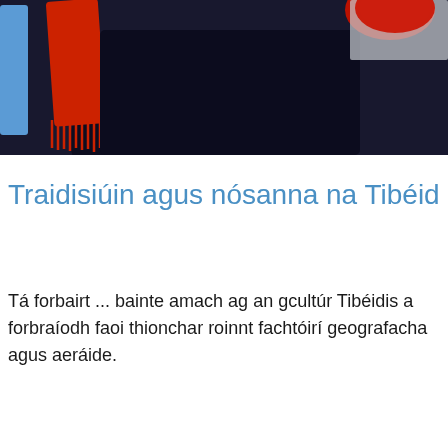[Figure (photo): Photo of a person wearing dark clothing with a red scarf and a red hat/hair decoration, with a blue element on the left side. Dark background.]
Traidisiúin agus nósanna na Tibéid
Tá forbairt ... bainte amach ag an gcultúr Tibéidis a forbraíodh faoi thionchar roinnt fachtóirí geografacha agus aeráide.